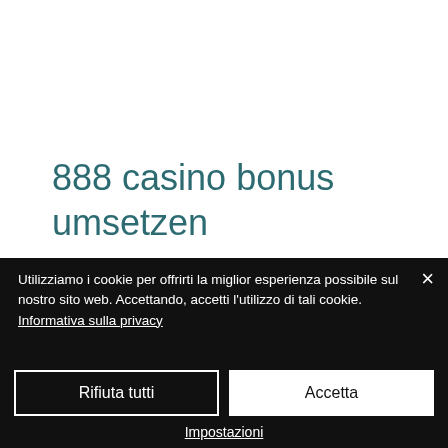888 casino bonus umsetzen
They do not involve manipulating the reels anyhow, but playing wisely, 888 casino bonus umsetzen. Choose the Paylines Right Understand how paylines work and utilize the maximum of it. You
Utilizziamo i cookie per offrirti la miglior esperienza possibile sul nostro sito web. Accettando, accetti l'utilizzo di tali cookie. Informativa sulla privacy
Rifiuta tutti
Accetta
Impostazioni